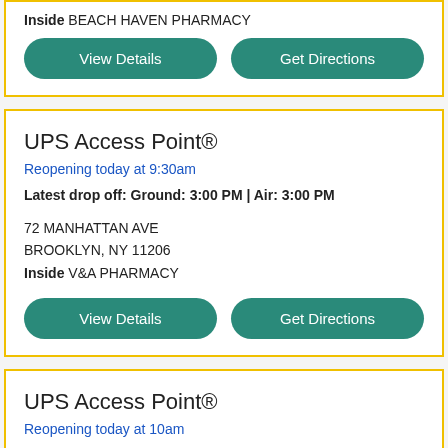Inside BEACH HAVEN PHARMACY
View Details | Get Directions
UPS Access Point®
Reopening today at 9:30am
Latest drop off: Ground: 3:00 PM | Air: 3:00 PM
72 MANHATTAN AVE
BROOKLYN, NY 11206
Inside V&A PHARMACY
View Details | Get Directions
UPS Access Point®
Reopening today at 10am